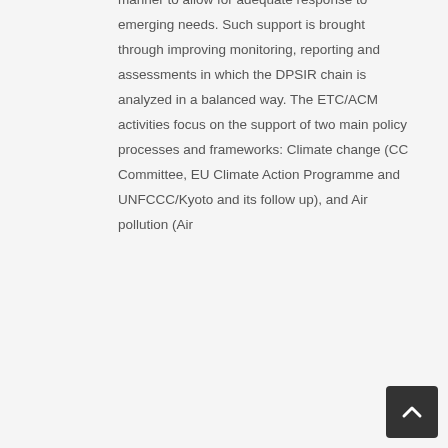manner to allow for adequate response to emerging needs. Such support is brought through improving monitoring, reporting and assessments in which the DPSIR chain is analyzed in a balanced way. The ETC/ACM activities focus on the support of two main policy processes and frameworks: Climate change (CC Committee, EU Climate Action Programme and UNFCCC/Kyoto and its follow up), and Air pollution (Air